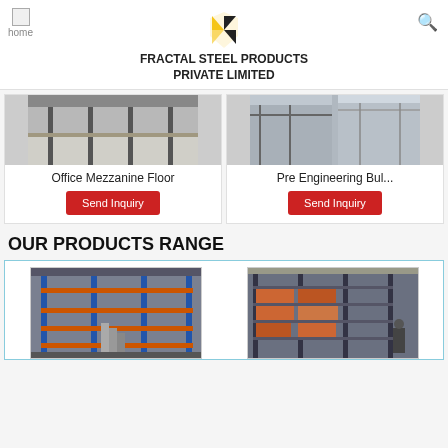FRACTAL STEEL PRODUCTS PRIVATE LIMITED
[Figure (photo): Office Mezzanine Floor - warehouse interior with steel columns and mezzanine structure]
Office Mezzanine Floor
Send Inquiry
[Figure (photo): Pre Engineering Building - steel structure construction photos]
Pre Engineering Bul...
Send Inquiry
OUR PRODUCTS RANGE
[Figure (photo): Industrial mezzanine floor with orange and blue racking systems and staircase]
[Figure (photo): Warehouse shelving/racking system with stored goods]